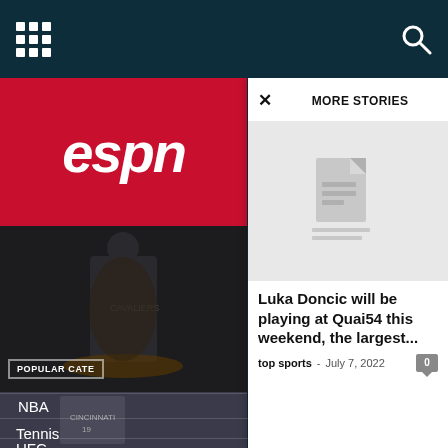Navigation bar with grid/hamburger menu icon and search icon
[Figure (screenshot): ESPN logo red background on left sidebar]
[Figure (photo): Basketball player (Cleveland Cavaliers) on court]
[Figure (photo): Baseball player in Cincinnati Reds uniform, number 19]
MORE STORIES
[Figure (illustration): Document/article placeholder icon on light grey background]
Luka Doncic will be playing at Quai54 this weekend, the largest...
top sports - July 7, 2022
POPULAR CATE
NBA
Tennis 2594
UFC 2442